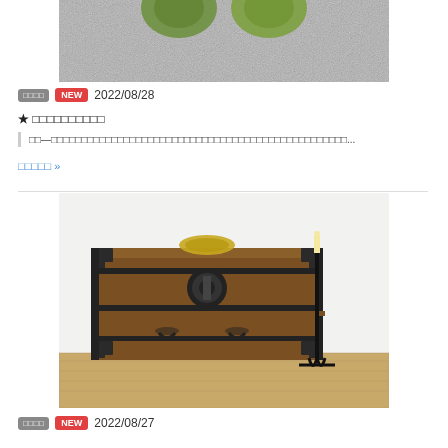[Figure (photo): Top portion of a photo showing green objects on a gray carpet/rug surface]
□□□□ NEW 2022/08/28
★ □□□□□□□□□□
□□—□□□□□□□□□□□□□□□□□□□□□□□□□□□□□□□□□□□□□□□□□□□□□□□□□...
□□□□□ »
[Figure (photo): Photo of a traditional Japanese wooden chest with iron fittings and handles, with a metallic bowl on top and a black iron candle stand to the right, on a wooden floor]
□□□□ NEW 2022/08/27